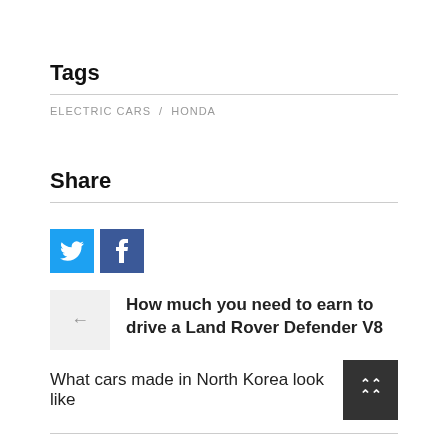Tags
ELECTRIC CARS / HONDA
Share
[Figure (other): Twitter and Facebook social share buttons — blue Twitter bird icon and dark-blue Facebook 'f' icon]
How much you need to earn to drive a Land Rover Defender V8
What cars made in North Korea look like